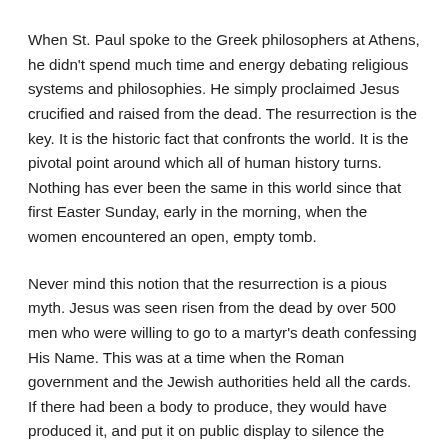When St. Paul spoke to the Greek philosophers at Athens, he didn't spend much time and energy debating religious systems and philosophies. He simply proclaimed Jesus crucified and raised from the dead. The resurrection is the key. It is the historic fact that confronts the world. It is the pivotal point around which all of human history turns. Nothing has ever been the same in this world since that first Easter Sunday, early in the morning, when the women encountered an open, empty tomb.
Never mind this notion that the resurrection is a pious myth. Jesus was seen risen from the dead by over 500 men who were willing to go to a martyr's death confessing His Name. This was at a time when the Roman government and the Jewish authorities held all the cards. If there had been a body to produce, they would have produced it, and put it on public display to silence the rumors of resurrection. Remember Peter, who went from denier to preacher in 50 short days; from someone who was too sheepish to admit being a disciple of Jesus to a servant girl, to one who preached Jesus to thousands at Pentecost. What could account for such a transformation? What happened to Peter in so short a time? Jesus had risen from the dead, that's what happened, and